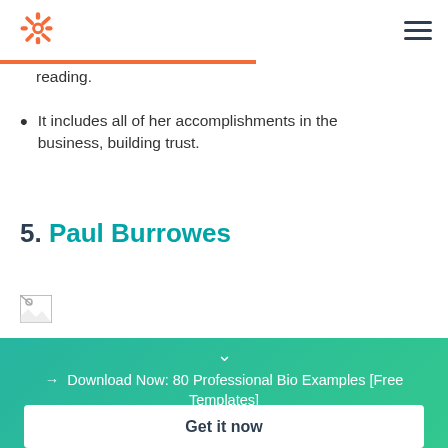HubSpot logo and navigation
reading.
It includes all of her accomplishments in the business, building trust.
5. Paul Burrowes
[Figure (photo): Broken image placeholder]
→ Download Now: 80 Professional Bio Examples [Free Templates]
Get it now